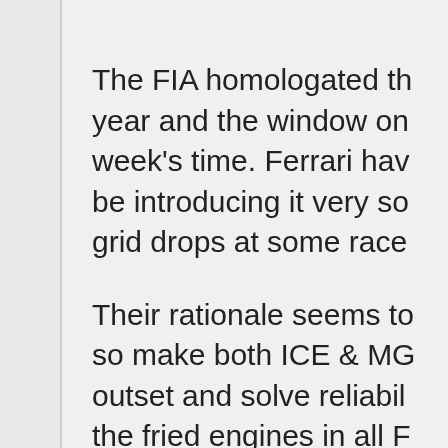The FIA homologated th year and the window on week's time. Ferrari hav be introducing it very so grid drops at some race
Their rationale seems to so make both ICE & MG outset and solve reliabil the fried engines in all F Surely there must be an through to FIA for reliab
This new MGU-K appar currently loses the Reds will improve drivability o occurs as a result of ru compromises Ice power